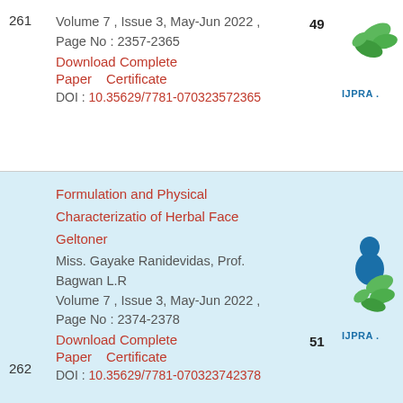261  Volume 7 , Issue 3, May-Jun 2022 ,  49
Page No : 2357-2365
Download Complete
Paper   Certificate
DOI : 10.35629/7781-070323572365
Formulation and Physical Characterizatio of Herbal Face Geltoner
Miss. Gayake Ranidevidas, Prof. Bagwan L.R
262  Volume 7 , Issue 3, May-Jun 2022 ,  51
Page No : 2374-2378
Download Complete
Paper   Certificate
DOI : 10.35629/7781-070323742378